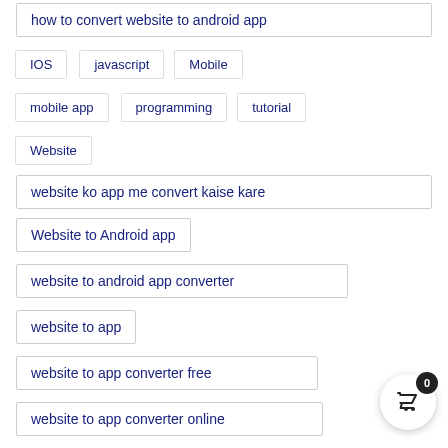how to convert website to android app
IOS
javascript
Mobile
mobile app
programming
tutorial
Website
website ko app me convert kaise kare
Website to Android app
website to android app converter
website to app
website to app converter free
website to app converter online